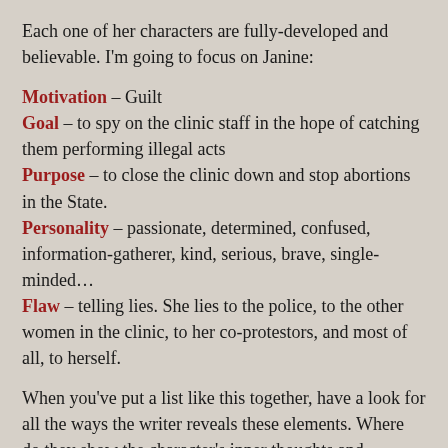Each one of her characters are fully-developed and believable. I'm going to focus on Janine:
Motivation – Guilt
Goal – to spy on the clinic staff in the hope of catching them performing illegal acts
Purpose – to close the clinic down and stop abortions in the State.
Personality – passionate, determined, confused, information-gatherer, kind, serious, brave, single-minded…
Flaw – telling lies. She lies to the police, to the other women in the clinic, to her co-protestors, and most of all, to herself.
When you've put a list like this together, have a look for all the ways the writer reveals these elements. Where do they show the character's inner thoughts and